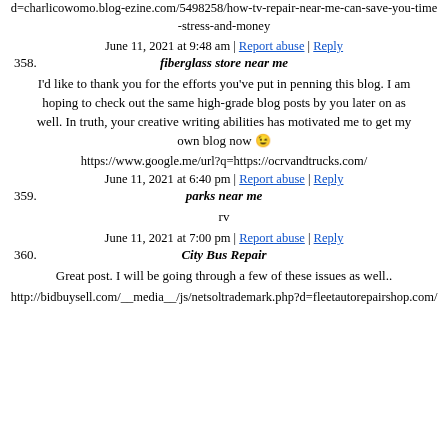d=charlicowomo.blog-ezine.com/5498258/how-tv-repair-near-me-can-save-you-time-stress-and-money
June 11, 2021 at 9:48 am | Report abuse | Reply
358. fiberglass store near me
I’d like to thank you for the efforts you've put in penning this blog. I am hoping to check out the same high-grade blog posts by you later on as well. In truth, your creative writing abilities has motivated me to get my own blog now 😉
https://www.google.me/url?q=https://ocrvandtrucks.com/
June 11, 2021 at 6:40 pm | Report abuse | Reply
359. parks near me
rv
June 11, 2021 at 7:00 pm | Report abuse | Reply
360. City Bus Repair
Great post. I will be going through a few of these issues as well..
http://bidbuysell.com/__media__/js/netsoltrademark.php?d=fleetautorepairshop.com/